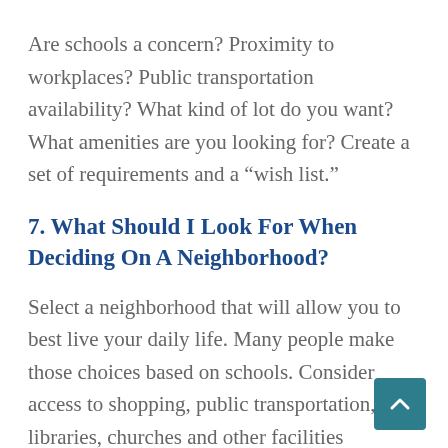Are schools a concern? Proximity to workplaces? Public transportation availability? What kind of lot do you want? What amenities are you looking for? Create a set of requirements and a “wish list.”
7. What Should I Look For When Deciding On A Neighborhood?
Select a neighborhood that will allow you to best live your daily life. Many people make those choices based on schools. Consider access to shopping, public transportation, libraries, churches and other facilities important to you. Do you want a rural area or